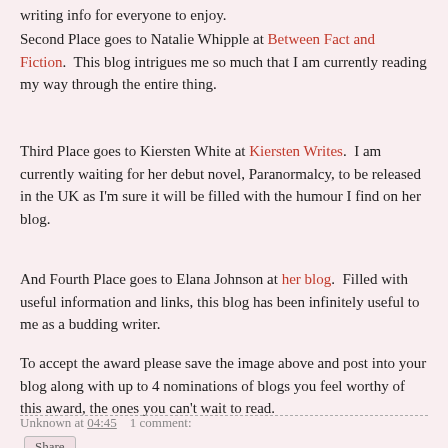writing info for everyone to enjoy.
Second Place goes to Natalie Whipple at Between Fact and Fiction.  This blog intrigues me so much that I am currently reading my way through the entire thing.
Third Place goes to Kiersten White at Kiersten Writes.  I am currently waiting for her debut novel, Paranormalcy, to be released in the UK as I'm sure it will be filled with the humour I find on her blog.
And Fourth Place goes to Elana Johnson at her blog.  Filled with useful information and links, this blog has been infinitely useful to me as a budding writer.
To accept the award please save the image above and post into your blog along with up to 4 nominations of blogs you feel worthy of this award, the ones you can't wait to read.
Unknown at 04:45    1 comment:
Share